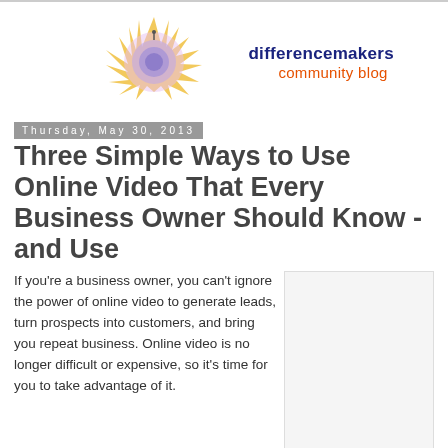[Figure (logo): Differencemakers community blog logo with sun graphic, blue and orange text]
Thursday, May 30, 2013
Three Simple Ways to Use Online Video That Every Business Owner Should Know - and Use
If you're a business owner, you can't ignore the power of online video to generate leads, turn prospects into customers, and bring you repeat business. Online video is no longer difficult or expensive, so it's time for you to take advantage of it.
[Figure (other): Embedded video placeholder (white/light grey rectangle)]
According to Google, which owns YouTube, over 60 hours of video is uploaded to YouTube every minute. Yes, that's 60